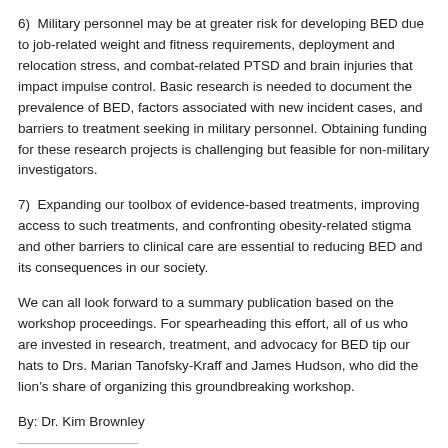6)  Military personnel may be at greater risk for developing BED due to job-related weight and fitness requirements, deployment and relocation stress, and combat-related PTSD and brain injuries that impact impulse control. Basic research is needed to document the prevalence of BED, factors associated with new incident cases, and barriers to treatment seeking in military personnel. Obtaining funding for these research projects is challenging but feasible for non-military investigators.
7)  Expanding our toolbox of evidence-based treatments, improving access to such treatments, and confronting obesity-related stigma and other barriers to clinical care are essential to reducing BED and its consequences in our society.
We can all look forward to a summary publication based on the workshop proceedings. For spearheading this effort, all of us who are invested in research, treatment, and advocacy for BED tip our hats to Drs. Marian Tanofsky-Kraff and James Hudson, who did the lion’s share of organizing this groundbreaking workshop.
By: Dr. Kim Brownley
Share this: